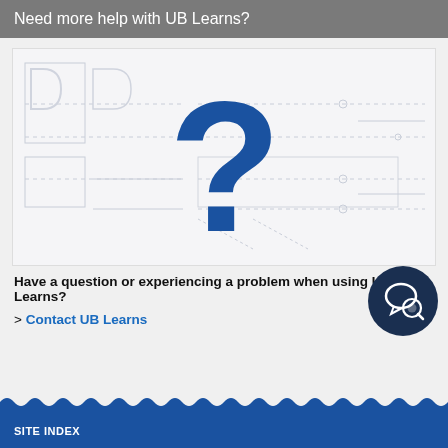Need more help with UB Learns?
[Figure (illustration): Large blue question mark overlaid on a faint wireframe/diagram background, representing help or FAQ for UB Learns.]
Have a question or experiencing a problem when using UB Learns?
> Contact UB Learns
[Figure (logo): Dark navy circular chat/support icon with a speech bubble and magnifying glass symbol.]
SITE INDEX